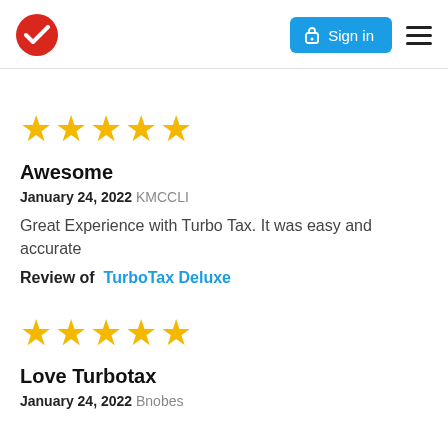[Figure (logo): TurboTax red circle checkmark logo]
[Figure (other): Sign in button with lock icon (blue)]
[Figure (other): Hamburger menu icon (three horizontal lines)]
★★★★★
Awesome
January 24, 2022 KMCCLI
Great Experience with Turbo Tax. It was easy and accurate
Review of  TurboTax Deluxe
★★★★★
Love Turbotax
January 24, 2022 Bnobes